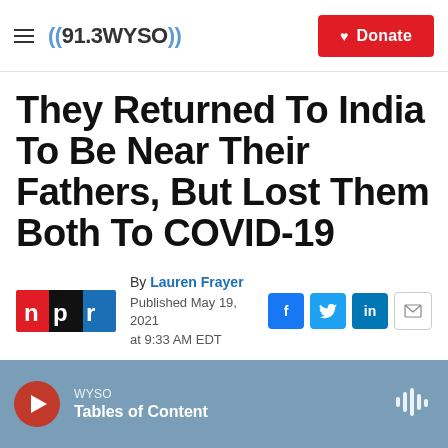((91.3 WYSO)) — Donate
They Returned To India To Be Near Their Fathers, But Lost Them Both To COVID-19
By Lauren Frayer
Published May 19, 2021 at 9:33 AM EDT
[Figure (logo): NPR logo with red 'n', black 'p', blue 'r' on dark background]
WYSO — Tables of Content (audio player bar)